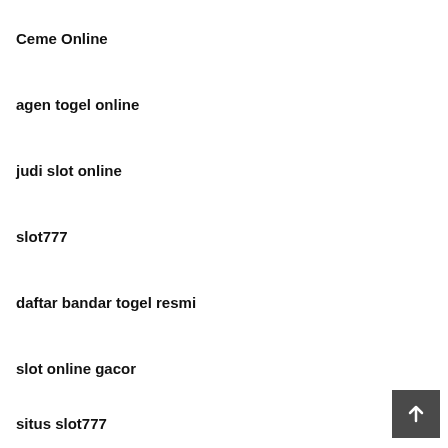Ceme Online
agen togel online
judi slot online
slot777
daftar bandar togel resmi
slot online gacor
situs slot777